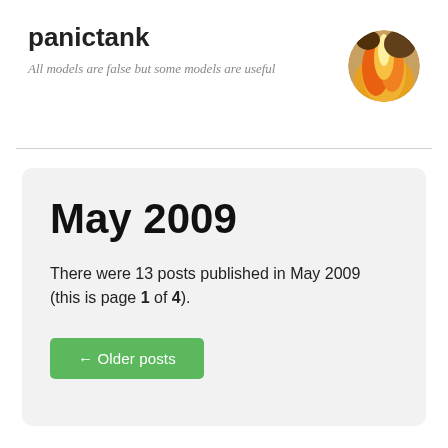panictank
All models are false but some models are useful
[Figure (photo): Circular avatar image showing flames, yellow and orange fire ball]
May 2009
There were 13 posts published in May 2009 (this is page 1 of 4).
← Older posts